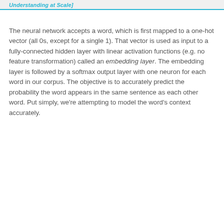Understanding at Scale]
The neural network accepts a word, which is first mapped to a one-hot vector (all 0s, except for a single 1). That vector is used as input to a fully-connected hidden layer with linear activation functions (e.g. no feature transformation) called an embedding layer. The embedding layer is followed by a softmax output layer with one neuron for each word in our corpus. The objective is to accurately predict the probability the word appears in the same sentence as each other word. Put simply, we're attempting to model the word's context accurately.